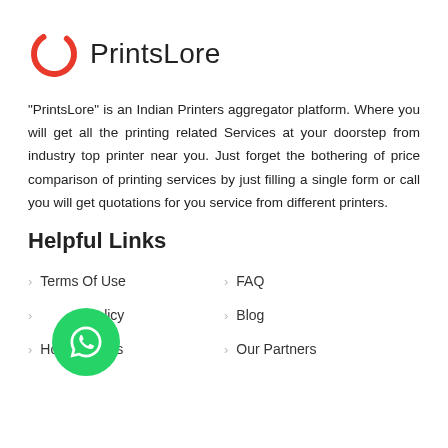[Figure (logo): PrintsLore logo: red circular arc/ring icon next to the text 'PrintsLore']
"PrintsLore" is an Indian Printers aggregator platform. Where you will get all the printing related Services at your doorstep from industry top printer near you. Just forget the bothering of price comparison of printing services by just filling a single form or call you will get quotations for you service from different printers.
Helpful Links
Terms Of Use
FAQ
Privacy Policy
Blog
How It Works
Our Partners
[Figure (other): WhatsApp floating action button: green circle with white WhatsApp logo]